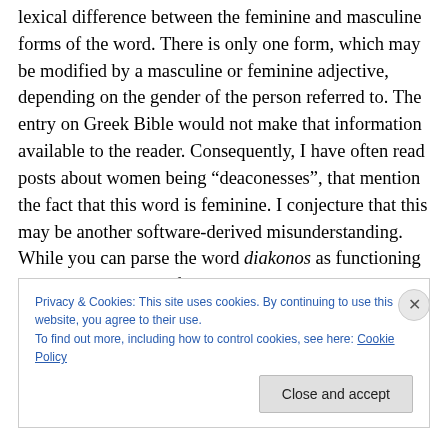lexical difference between the feminine and masculine forms of the word. There is only one form, which may be modified by a masculine or feminine adjective, depending on the gender of the person referred to. The entry on Greek Bible would not make that information available to the reader. Consequently, I have often read posts about women being “deaconesses”, that mention the fact that this word is feminine. I conjecture that this may be another software-derived misunderstanding. While you can parse the word diakonos as functioning grammatically like a feminine noun, the lexical entry ought to record that it is a
Privacy & Cookies: This site uses cookies. By continuing to use this website, you agree to their use.
To find out more, including how to control cookies, see here: Cookie Policy